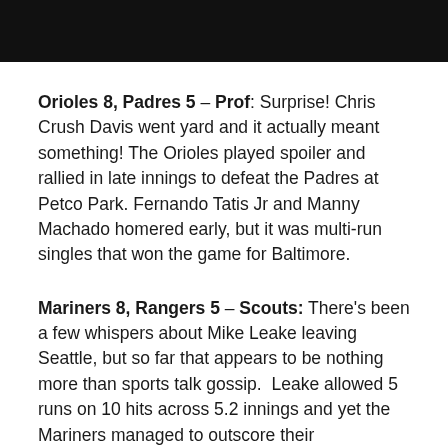[Figure (other): Black bar/banner image at top of page]
Orioles 8, Padres 5 – Prof: Surprise! Chris Crush Davis went yard and it actually meant something! The Orioles played spoiler and rallied in late innings to defeat the Padres at Petco Park. Fernando Tatis Jr and Manny Machado homered early, but it was multi-run singles that won the game for Baltimore.
Mariners 8, Rangers 5 – Scouts: There's been a few whispers about Mike Leake leaving Seattle, but so far that appears to be nothing more than sports talk gossip.  Leake allowed 5 runs on 10 hits across 5.2 innings and yet the Mariners managed to outscore their...